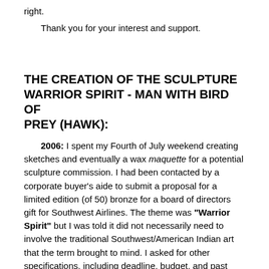right.
Thank you for your interest and support.
THE CREATION OF THE SCULPTURE WARRIOR SPIRIT - MAN WITH BIRD OF PREY (HAWK):
2006: I spent my Fourth of July weekend creating sketches and eventually a wax maquette for a potential sculpture commission. I had been contacted by a corporate buyer's aide to submit a proposal for a limited edition (of 50) bronze for a board of directors gift for Southwest Airlines. The theme was "Warrior Spirit" but I was told it did not necessarily need to involve the traditional Southwest/American Indian art that the term brought to mind. I asked for other specifications, including deadline, budget, and past gifts to give me a better idea of the taste of this audience. I began to have some vague ideas and started drawing. Then, before the weekend got going, I called and learned from that something prior had already been and